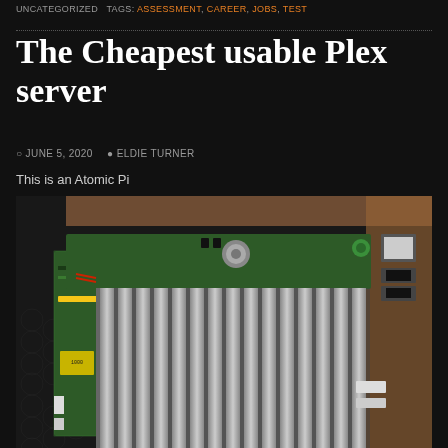UNCATEGORIZED  TAGS: ASSESSMENT, CAREER, JOBS, TEST
The Cheapest usable Plex server
JUNE 5, 2020  ELDIE TURNER
This is an Atomic Pi
[Figure (photo): Photo of an Atomic Pi single-board computer lying on an anti-static bag on a wooden surface, showing the PCB with a large heat sink, various ports (USB, Ethernet), and electronic components.]